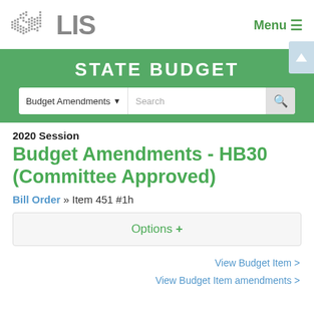[Figure (logo): Virginia LIS logo with state outline graphic and 'LIS' text in gray]
Menu ≡
STATE BUDGET
Budget Amendments ▾  Search
2020 Session
Budget Amendments - HB30 (Committee Approved)
Bill Order » Item 451 #1h
Options +
View Budget Item >
View Budget Item amendments >